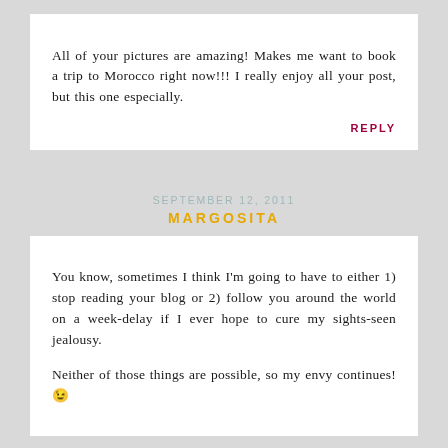All of your pictures are amazing! Makes me want to book a trip to Morocco right now!!! I really enjoy all your post, but this one especially.
REPLY
SEPTEMBER 12, 2011
MARGOSITA
You know, sometimes I think I'm going to have to either 1) stop reading your blog or 2) follow you around the world on a week-delay if I ever hope to cure my sights-seen jealousy.
Neither of those things are possible, so my envy continues! 😉